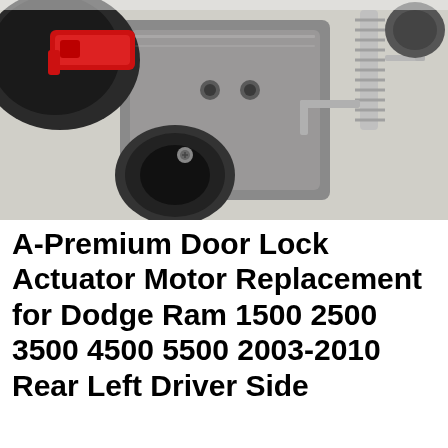[Figure (photo): Close-up photo of a door lock actuator motor part. The component is shown with a red plastic clip/lever on the left side, a gray metal mounting plate in the center with bolt holes, and chrome/silver mechanical spring and linkage hardware on the right side.]
A-Premium Door Lock Actuator Motor Replacement for Dodge Ram 1500 2500 3500 4500 5500 2003-2010 Rear Left Driver Side